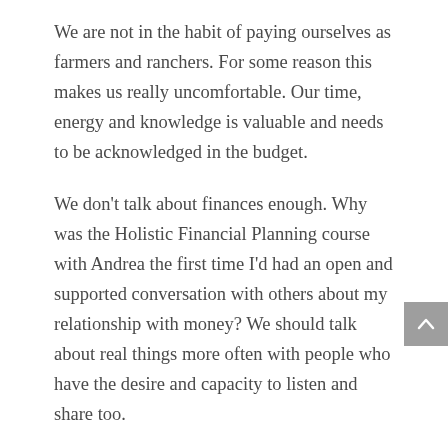We are not in the habit of paying ourselves as farmers and ranchers. For some reason this makes us really uncomfortable. Our time, energy and knowledge is valuable and needs to be acknowledged in the budget.
We don't talk about finances enough. Why was the Holistic Financial Planning course with Andrea the first time I'd had an open and supported conversation with others about my relationship with money? We should talk about real things more often with people who have the desire and capacity to listen and share too.
We are used to doing things the way they've always been done. I love the look of joy and